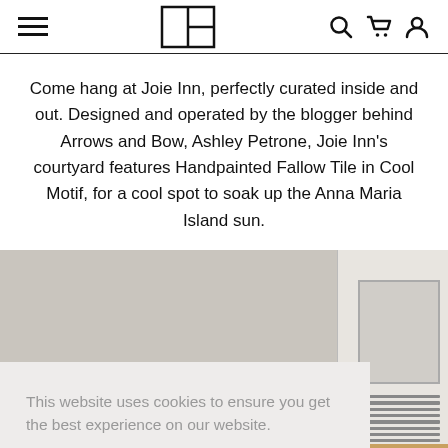[navigation bar with menu icon, logo, search, cart, account icons]
Come hang at Joie Inn, perfectly curated inside and out. Designed and operated by the blogger behind Arrows and Bow, Ashley Petrone, Joie Inn's courtyard features Handpainted Fallow Tile in Cool Motif, for a cool spot to soak up the Anna Maria Island sun.
[Figure (photo): Photo of an interior room, partially visible, showing window with blinds and a dresser, with a gray overlay partially covering the image.]
This website uses cookies to ensure you get the best experience on our website.
Learn More
Got it!
[Figure (photo): Three thumbnail photos at the bottom of the page showing interior/exterior scenes.]